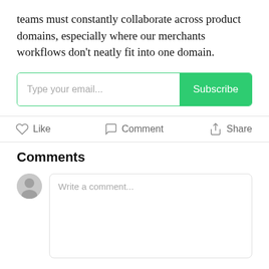teams must constantly collaborate across product domains, especially where our merchants workflows don't neatly fit into one domain.
[Figure (screenshot): Email subscription input box with placeholder text 'Type your email...' and a green 'Subscribe' button]
[Figure (infographic): Social action buttons row: heart icon with 'Like', speech bubble icon with 'Comment', share icon with 'Share']
Comments
[Figure (screenshot): Comment input area with grey user avatar on the left and a rounded text box with placeholder 'Write a comment...']